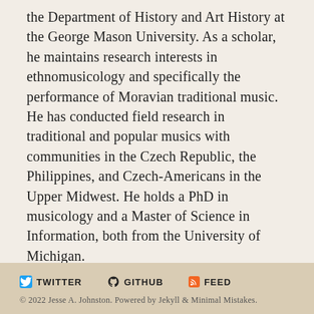the Department of History and Art History at the George Mason University. As a scholar, he maintains research interests in ethnomusicology and specifically the performance of Moravian traditional music. He has conducted field research in traditional and popular musics with communities in the Czech Republic, the Philippines, and Czech-Americans in the Upper Midwest. He holds a PhD in musicology and a Master of Science in Information, both from the University of Michigan.
TWITTER  GITHUB  FEED
© 2022 Jesse A. Johnston. Powered by Jekyll & Minimal Mistakes.